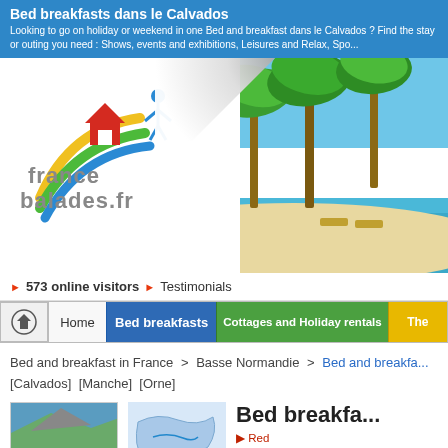Bed breakfasts dans le Calvados
Looking to go on holiday or weekend in one Bed and breakfast dans le Calvados ? Find the stay or outing you need : Shows, events and exhibitions, Leisures and Relax, Spo...
[Figure (logo): France Balades logo with colored arcs (yellow, green, blue) and a red house icon, with 'france balades.fr' text in gray, overlaid on a beach/palm tree photo with a page-curl effect in top center]
▶ 573 online visitors ▶ Testimonials
Home | Bed breakfasts | Cottages and Holiday rentals | Ther...
Bed and breakfast in France > Basse Normandie > Bed and breakfa...
[Calvados]  [Manche]  [Orne]
[Figure (photo): Small thumbnail photo of a scenic coastal/mountain scene]
[Figure (map): Map thumbnail of a French region]
Bed breakfa...